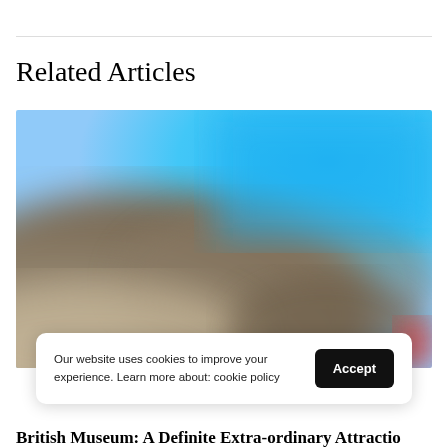Related Articles
[Figure (photo): Blurred outdoor photograph showing a blue sky in the upper right and sandy/brown tones in the lower left, appearing to be an out-of-focus landscape or beach scene.]
Our website uses cookies to improve your experience. Learn more about: cookie policy
British Museum: A Definite Extra-ordinary Attraction